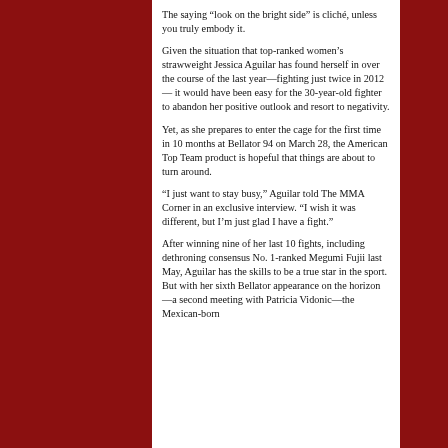The saying “look on the bright side” is cliché, unless you truly embody it.
Given the situation that top-ranked women’s strawweight Jessica Aguilar has found herself in over the course of the last year—fighting just twice in 2012— it would have been easy for the 30-year-old fighter to abandon her positive outlook and resort to negativity.
Yet, as she prepares to enter the cage for the first time in 10 months at Bellator 94 on March 28, the American Top Team product is hopeful that things are about to turn around.
“I just want to stay busy,” Aguilar told The MMA Corner in an exclusive interview. “I wish it was different, but I’m just glad I have a fight.”
After winning nine of her last 10 fights, including dethroning consensus No. 1-ranked Megumi Fujii last May, Aguilar has the skills to be a true star in the sport. But with her sixth Bellator appearance on the horizon—a second meeting with Patricia Vidonic—the Mexican-born...